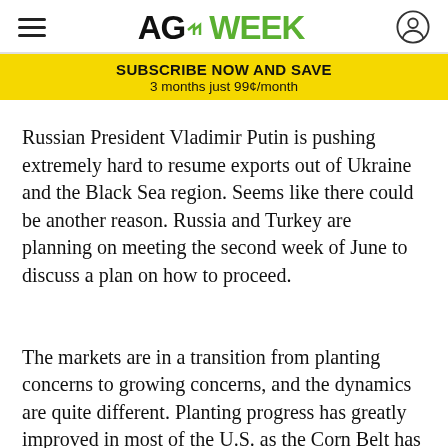AGWEEK
SUBSCRIBE NOW AND SAVE
3 months just 99¢/month
Russian President Vladimir Putin is pushing extremely hard to resume exports out of Ukraine and the Black Sea region. Seems like there could be another reason. Russia and Turkey are planning on meeting the second week of June to discuss a plan on how to proceed.
The markets are in a transition from planting concerns to growing concerns, and the dynamics are quite different. Planting progress has greatly improved in most of the U.S. as the Corn Belt has caught up to their average planting progress and weather conditions are ideal (warm and wet). This is pulling corn lower.
Get 3 months for 99¢ a month!
SUBSCRIBE NOW ›